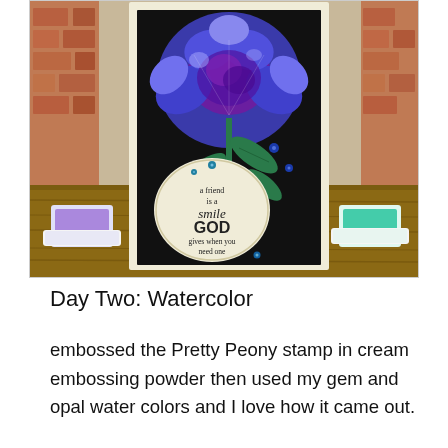[Figure (photo): A handmade greeting card with a large blue and purple peony flower stamped and watercolored on a black background with a cream circular sentiment tag reading 'a friend is a smile GOD gives when you need one', surrounded by blue gem embellishments. Purple and teal ink pads are visible on either side of the card, placed on a wooden surface with a brick wall backdrop.]
Day Two: Watercolor
embossed the Pretty Peony stamp in cream embossing powder then used my gem and opal water colors and I love how it came out.